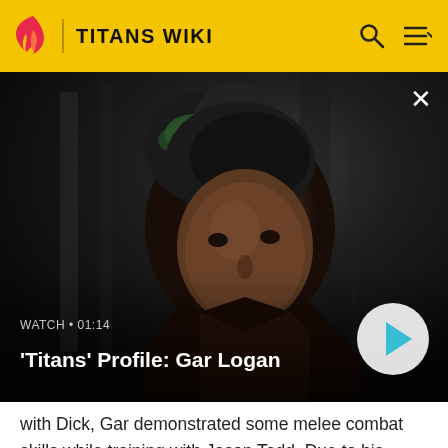TITANS WIKI
[Figure (screenshot): Video thumbnail showing a young man with green-tipped dark hair in a dark setting. Overlay shows WATCH • 01:14 and title 'Titans' Profile: Gar Logan with a play button.]
with Dick, Gar demonstrated some melee combat skills while training with Jason Todd. Due to his three months of training with Dick Grayson and probably also with Jason Todd, Gar's reflexes and agility allowed him to quickly evade several attacks by